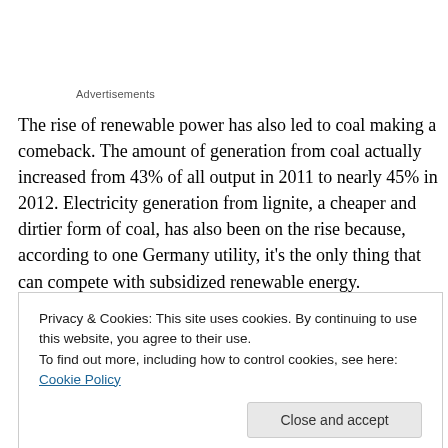Advertisements
The rise of renewable power has also led to coal making a comeback. The amount of generation from coal actually increased from 43% of all output in 2011 to nearly 45% in 2012. Electricity generation from lignite, a cheaper and dirtier form of coal, has also been on the rise because, according to one Germany utility, it’s the only thing that can compete with subsidized renewable energy.
Privacy & Cookies: This site uses cookies. By continuing to use this website, you agree to their use.
To find out more, including how to control cookies, see here: Cookie Policy
the dismay of renewable producers that still can’t survive